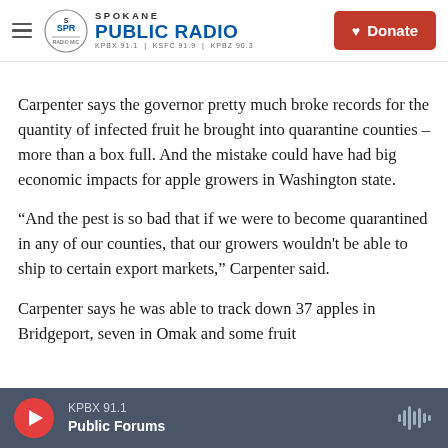Spokane Public Radio — KPBX 91.1 | KSFC 91.9 | KPBZ 90.3 — Donate
Carpenter says the governor pretty much broke records for the quantity of infected fruit he brought into quarantine counties – more than a box full. And the mistake could have had big economic impacts for apple growers in Washington state.
“And the pest is so bad that if we were to become quarantined in any of our counties, that our growers wouldn't be able to ship to certain export markets,” Carpenter said.
Carpenter says he was able to track down 37 apples in Bridgeport, seven in Omak and some fruit
KPBX 91.1 — Public Forums